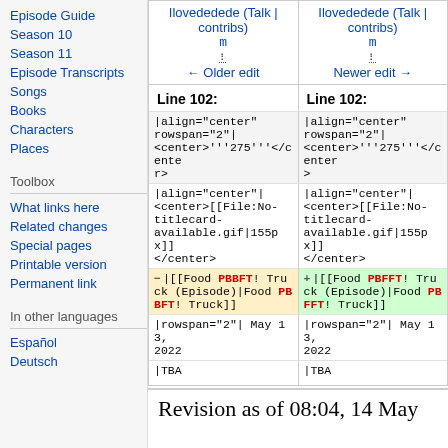Episode Guide
Season 10
Season 11
Episode Transcripts
Songs
Books
Characters
Places
Toolbox
What links here
Related changes
Special pages
Printable version
Permanent link
In other languages
Español
Deutsch
| Ilovededede (Talk | contribs) m ← Older edit | Ilovededede (Talk | contribs) m Newer edit → |
| --- | --- |
| Line 102: | Line 102: |
| |align="center" rowspan="2"| <center>'''275'''</center> | |align="center" rowspan="2"| <center>'''275'''</center> |
| |align="center"| <center>[[File:No-titlecard-available.gif|155px]] </center> | |align="center"| <center>[[File:No-titlecard-available.gif|155px]] </center> |
| −|[[Food PBBFT! Truck (Episode)|Food PBBFT! Truck]] | +|[[Food PBFFT! Truck (Episode)|Food PBFFT! Truck]] |
| |rowspan="2"| May 13, 2022 | |rowspan="2"| May 13, 2022 |
| |TBA | |TBA |
Revision as of 08:04, 14 May